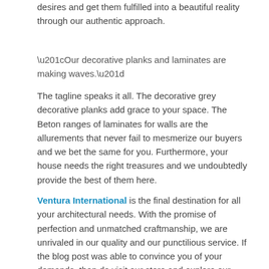desires and get them fulfilled into a beautiful reality through our authentic approach.
“Our decorative planks and laminates are making waves.”
The tagline speaks it all. The decorative grey decorative planks add grace to your space. The Beton ranges of laminates for walls are the allurements that never fail to mesmerize our buyers and we bet the same for you. Furthermore, your house needs the right treasures and we undoubtedly provide the best of them here.
Ventura International is the final destination for all your architectural needs. With the promise of perfection and unmatched craftmanship, we are unrivaled in our quality and our punctilious service. If the blog post was able to convince you of your demands, then do visit our store and explore our superior quality of products capable of turning you into a fan of